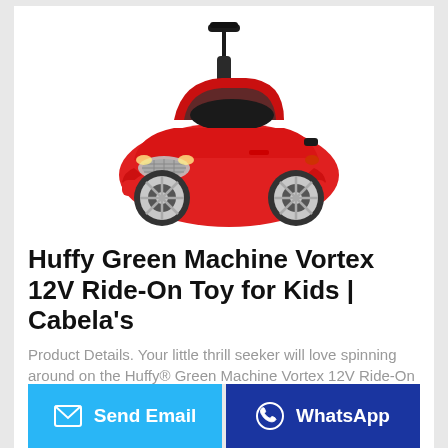[Figure (photo): A red children's ride-on toy car resembling a Bentley SUV, with black push handle at top, chrome wheels, black seat, and front grille detail. White background.]
Huffy Green Machine Vortex 12V Ride-On Toy for Kids | Cabela's
Product Details. Your little thrill seeker will love spinning around on the Huffy® Green Machine Vortex 12V Ride-On Toy for Kids! Boasting a
Send Email
WhatsApp